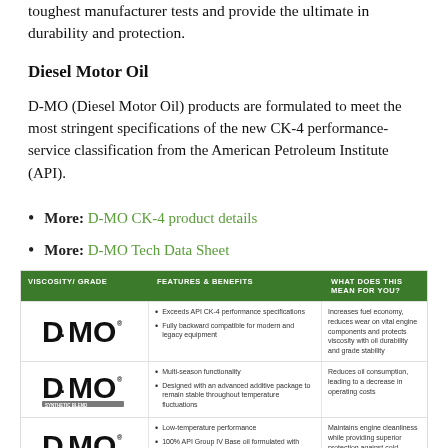toughest manufacturer tests and provide the ultimate in durability and protection.
Diesel Motor Oil
D-MO (Diesel Motor Oil) products are formulated to meet the most stringent specifications of the new CK-4 performance-service classification from the American Petroleum Institute (API).
More: D-MO CK-4 product details
More: D-MO Tech Data Sheet
| VISCOSITY/ GRADE | FEATURES & BENEFITS | WHAT DOES THIS MEAN FOR YOU? |
| --- | --- | --- |
| D-MO [logo] | Exceeds API CK-4 performance specifications
Fully backward compatible for modern and legacy equipment | Increases fuel economy, reduces wear on vital engine components and protects viscosity with oil durability and grade stability |
| D-MO [logo - synthetic blend] | Multi-season functionality
Designed with an advanced additive package to remain stable throughout temperature fluctuations | Reduces oil consumption, leading to a decrease in operating costs |
| D-MO [logo - synthetic] | Low-temperature performance
100% API Group IV Base oil formulated with industry-leading performance additive package | Maintains engine cleanliness while providing superior protection against cold-weather starts and extends service drain intervals |